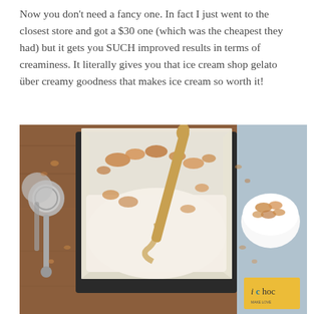Now you don't need a fancy one. In fact I just went to the closest store and got a $30 one (which was the cheapest they had) but it gets you SUCH improved results in terms of creaminess. It literally gives you that ice cream shop gelato über creamy goodness that makes ice cream so worth it!
[Figure (photo): Overhead view of ice cream in a loaf pan lined with parchment paper, with a wooden spatula/spoon resting in it. The ice cream has crumbled toppings on it. To the left are ice cream scoops on a wooden board, and to the right is a white bowl with crumbled topping and an iChoc chocolate bar package visible in the bottom right corner. The background is a wooden surface with a light blue counter area on the right.]